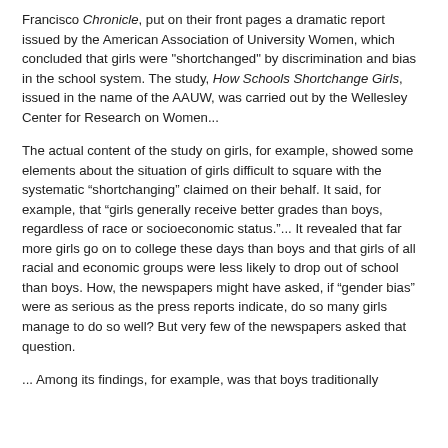Francisco Chronicle, put on their front pages a dramatic report issued by the American Association of University Women, which concluded that girls were "shortchanged" by discrimination and bias in the school system. The study, How Schools Shortchange Girls, issued in the name of the AAUW, was carried out by the Wellesley Center for Research on Women...
The actual content of the study on girls, for example, showed some elements about the situation of girls difficult to square with the systematic “shortchanging” claimed on their behalf. It said, for example, that “girls generally receive better grades than boys, regardless of race or socioeconomic status.”... It revealed that far more girls go on to college these days than boys and that girls of all racial and economic groups were less likely to drop out of school than boys. How, the newspapers might have asked, if “gender bias” were as serious as the press reports indicate, do so many girls manage to do so well? But very few of the newspapers asked that question.
... Among its findings, for example, was that boys traditionally